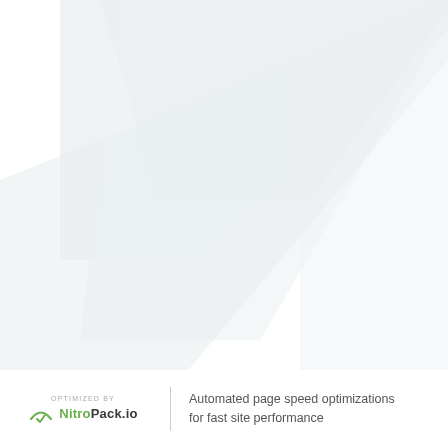[Figure (illustration): Abstract decorative background with large light gray diagonal stripe shapes on white background, forming a stylized Z or lightning bolt pattern.]
OPTIMIZED BY NitroPack.io | Automated page speed optimizations for fast site performance